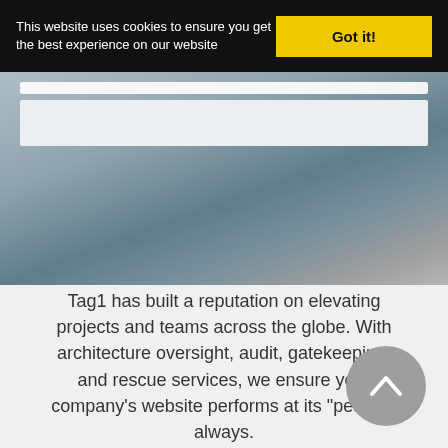This website uses cookies to ensure you get the best experience on our website
Got it!
[Figure (screenshot): Blurred/gradient hero image area of a website, showing a light gray bar at top and a card element, with a blue-gray gradient background suggesting a website screenshot]
Tag1 has built a reputation on elevating projects and teams across the globe. With architecture oversight, audit, gatekeeping, and rescue services, we ensure your company's website performs at its "peak"—always.